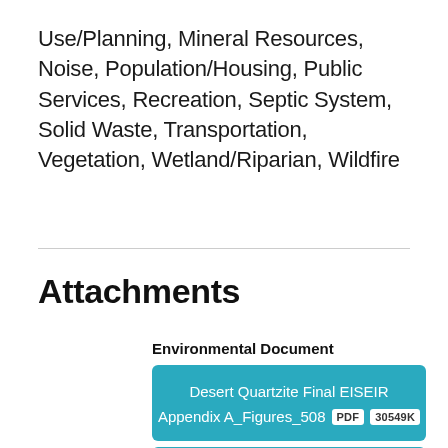Use/Planning, Mineral Resources, Noise, Population/Housing, Public Services, Recreation, Septic System, Solid Waste, Transportation, Vegetation, Wetland/Riparian, Wildfire
Attachments
Environmental Document
Desert Quartzite Final EISEIR Appendix A_Figures_508   PDF   30549K
Desert Quartzite Final EISEIR